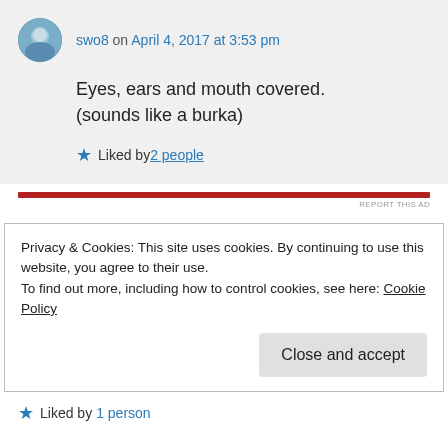swo8 on April 4, 2017 at 3:53 pm
Eyes, ears and mouth covered. (sounds like a burka)
Liked by 2 people
REPORT THIS AD
Privacy & Cookies: This site uses cookies. By continuing to use this website, you agree to their use. To find out more, including how to control cookies, see here: Cookie Policy
Close and accept
Liked by 1 person